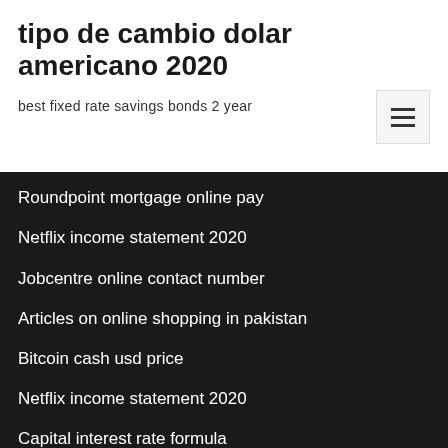tipo de cambio dolar americano 2020
best fixed rate savings bonds 2 year
Roundpoint mortgage online pay
Netflix income statement 2020
Jobcentre online contact number
Articles on online shopping in pakistan
Bitcoin cash usd price
Netflix income statement 2020
Capital interest rate formula
Work in oil and gas
Market traders insurance companies